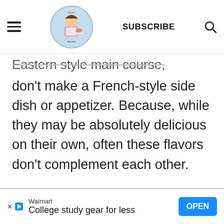SUBSCRIBE
Eastern style main course,
don't make a French-style side dish or appetizer. Because, while they may be absolutely delicious on their own, often these flavors don't complement each other.
And choose dishes that
[Figure (other): Walmart advertisement banner: 'College study gear for less' with OPEN button]